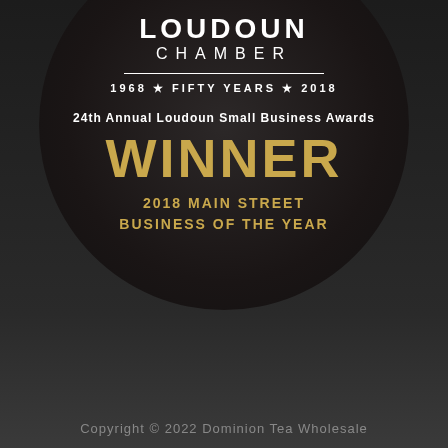[Figure (logo): Loudoun Chamber of Commerce award badge - circular dark badge with text: LOUDOUN / CHAMBER / 1968 FIFTY YEARS 2018 / 24th Annual Loudoun Small Business Awards / WINNER / 2018 MAIN STREET BUSINESS OF THE YEAR]
Copyright © 2022 Dominion Tea Wholesale